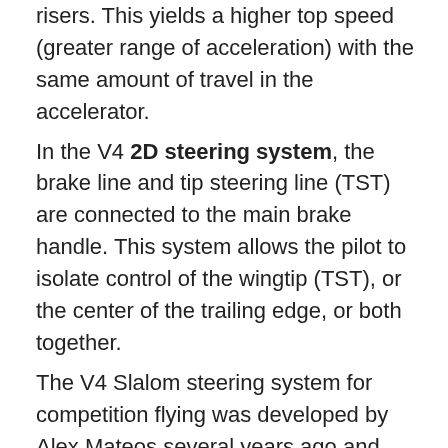risers. This yields a higher top speed (greater range of acceleration) with the same amount of travel in the accelerator.
In the V4 2D steering system, the brake line and tip steering line (TST) are connected to the main brake handle. This system allows the pilot to isolate control of the wingtip (TST), or the center of the trailing edge, or both together.
The V4 Slalom steering system for competition flying was developed by Alex Mateos several years ago and has helped to make him one of the most successful PPG Slalom competition pilots in the history of the sport. We think this is the safest and most reliable slalom steering system